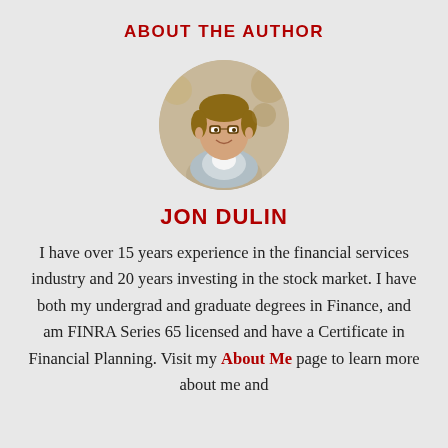ABOUT THE AUTHOR
[Figure (photo): Circular headshot photo of Jon Dulin, a man with glasses smiling, wearing a light blue blazer and white shirt, with a blurred outdoor background.]
JON DULIN
I have over 15 years experience in the financial services industry and 20 years investing in the stock market. I have both my undergrad and graduate degrees in Finance, and am FINRA Series 65 licensed and have a Certificate in Financial Planning. Visit my About Me page to learn more about me and